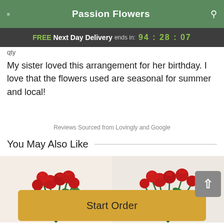Passion Flowers
FREE Next Day Delivery ends in: 94:28:07
qty
My sister loved this arrangement for her birthday. I love that the flowers used are seasonal for summer and local!
Reviews Sourced from Lovingly and Google
You May Also Like
[Figure (photo): Two bouquets of red roses side by side; left bouquet shows long-stemmed red roses with green leaves; right bouquet shows red roses with baby's breath]
Start Order